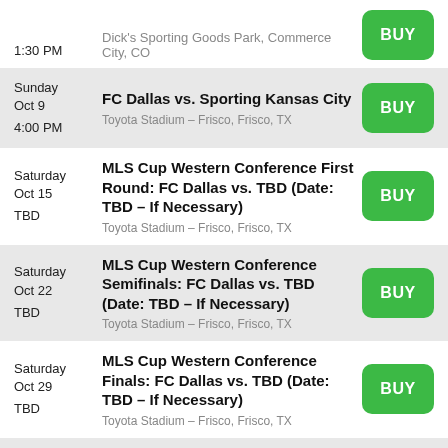1:30 PM | Dick's Sporting Goods Park, Commerce City, CO | BUY
Sunday Oct 9 4:00 PM | FC Dallas vs. Sporting Kansas City | Toyota Stadium - Frisco, Frisco, TX | BUY
Saturday Oct 15 TBD | MLS Cup Western Conference First Round: FC Dallas vs. TBD (Date: TBD - If Necessary) | Toyota Stadium - Frisco, Frisco, TX | BUY
Saturday Oct 22 TBD | MLS Cup Western Conference Semifinals: FC Dallas vs. TBD (Date: TBD - If Necessary) | Toyota Stadium - Frisco, Frisco, TX | BUY
Saturday Oct 29 TBD | MLS Cup Western Conference Finals: FC Dallas vs. TBD (Date: TBD - If Necessary) | Toyota Stadium - Frisco, Frisco, TX | BUY
Saturday | MLS Cup Final: FC Dallas vs. TBD (If...